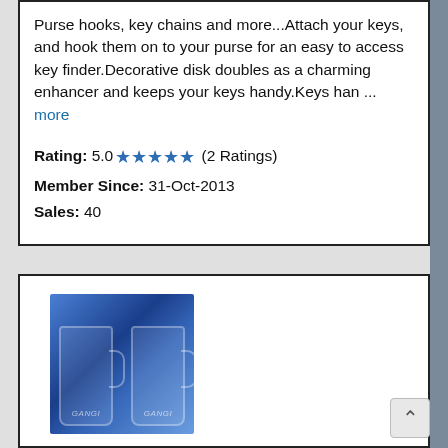Purse hooks, key chains and more...Attach your keys, and hook them on to your purse for an easy to access key finder.Decorative disk doubles as a charming enhancer and keeps your keys handy.Keys han ... more
Rating: 5.0 ★★★★★ (2 Ratings)
Member Since: 31-Oct-2013
Sales: 40
[Figure (photo): Two blue glass etching mugs with handles, with text 'GANGI' visible on them, displayed against a dark outdoor background.]
GLASS ETCHING
Browns Mills, NJ